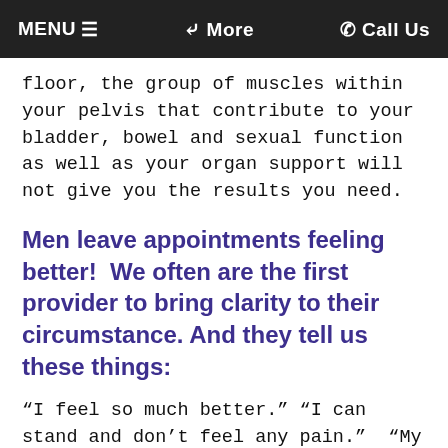MENU ≡   ❮ More   ☎ Call Us
floor, the group of muscles within your pelvis that contribute to your bladder, bowel and sexual function as well as your organ support will not give you the results you need.
Men leave appointments feeling better!  We often are the first provider to bring clarity to their circumstance. And they tell us these things:
“I feel so much better.” “I can stand and don’t feel any pain.”  “My testicle doesn’t feel as tight.” “Everything feels looser.”  “I’ve always suspected what you found, but no one would